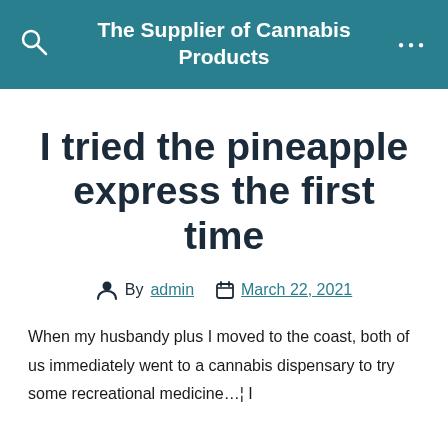The Supplier of Cannabis Products
I tried the pineapple express the first time
By admin   March 22, 2021
When my husbandy plus I moved to the coast, both of us immediately went to a cannabis dispensary to try some recreational medicine… I